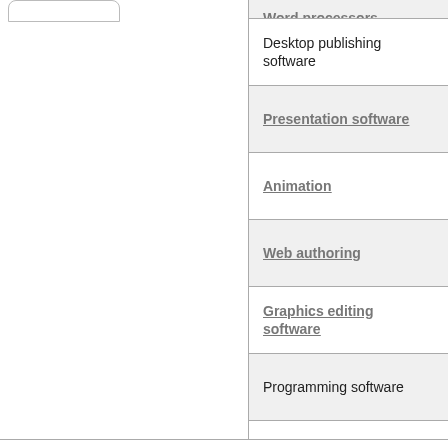Word processors
Desktop publishing software
Presentation software
Animation
Web authoring
Graphics editing software
Programming software
File types